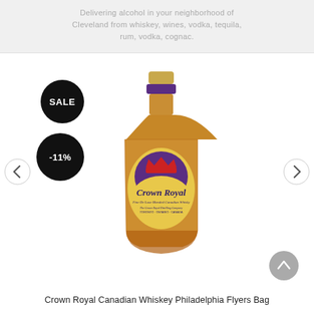Delivering alcohol in your neighborhood of Cleveland from whiskey, wines, vodka, tequila, rum, vodka, cognac.
[Figure (photo): Crown Royal Canadian Whiskey bottle with SALE and -11% badges, navigation arrows, and scroll-up button]
Crown Royal Canadian Whiskey Philadelphia Flyers Bag